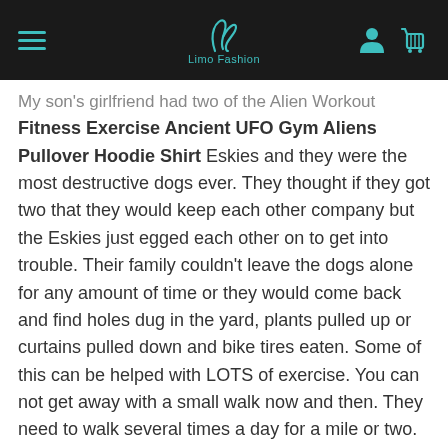Limo Fashion
My son's girlfriend had two of the Alien Workout Fitness Exercise Ancient UFO Gym Aliens Pullover Hoodie Shirt Eskies and they were the most destructive dogs ever. They thought if they got two that they would keep each other company but the Eskies just egged each other on to get into trouble. Their family couldn't leave the dogs alone for any amount of time or they would come back and find holes dug in the yard, plants pulled up or curtains pulled down and bike tires eaten. Some of this can be helped with LOTS of exercise. You can not get away with a small walk now and then. They need to walk several times a day for a mile or two. Putting a pack on them is even better. There is no other option to tame their nervous behavior. This is not a dog that anyone should get as their first dog. And